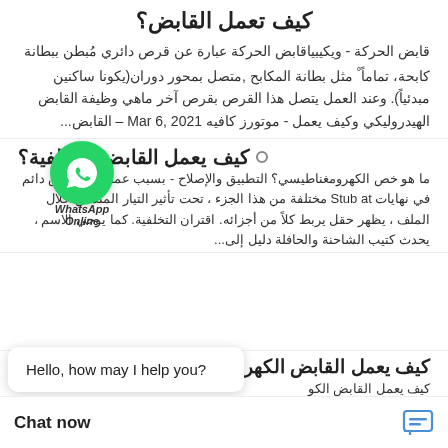كيف تعمل القابض؟
قابض الحركة - ويكيبياقابض الحركة عبارة عن قرص دائري مُبطن ببطانة كابحة، تماماً مثل بطانة المكابح ,متصل بمحور دوران(يكونا ساكنين مبدئياً). وعند العمل يتصل هذا القرص بقرص آخر ماهي وظيفة القابض الهيدروليكي وكيف يعمل - موتورز كافيه Mar 6, 2021 – القابض...
كيف يعمل القابض التخلفية؟
ما هو خص الكهرومغناطيسي؟ التطبيق والإصلاح - Stub at بسبب عمل مغناطيس دائم في نهايات مختلفة من هذا الجزء ، تحت تأثير التيار المتدفق خلال الملف ، يظهر حقل يربط كلاً من أجزائه. اقتران التخلفية. كما يوحي الاسم ، يحدث كتيب الشاحنة والحافلة دليل إلى...
[Figure (logo): WhatsApp green circle logo with WhatsApp Online label]
Hello, how may I help you?
كيف يعمل القابض الكهرومعد...
كيف يعمل القابض الكو
لماذا shniva تحت تأثير
أ
Chat now